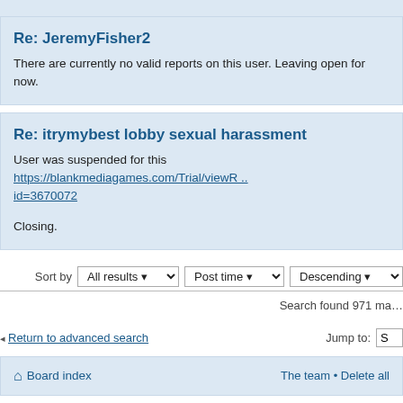Re: JeremyFisher2
There are currently no valid reports on this user. Leaving open for now.
Re: itrymybest lobby sexual harassment
User was suspended for this https://blankmediagames.com/Trial/viewR ...id=3670072

Closing.
Sort by  All results  Post time  Descending
Search found 971 ma…
Return to advanced search    Jump to: S
Board index    The team • Delete all
Powered by phpBB® Forum Software © phpBB Gr…